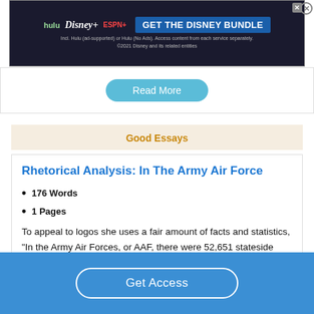[Figure (screenshot): Disney Bundle advertisement banner with Hulu, Disney+, ESPN+ logos and GET THE DISNEY BUNDLE call to action]
Read More
Good Essays
Rhetorical Analysis: In The Army Air Force
176 Words
1 Pages
To appeal to logos she uses a fair amount of facts and statistics, “In the Army Air Forces, or AAF, there were 52,651 stateside aircraft accidents over the course of the war, killing 14,903 personnel. Though some of these personnel
Get Access